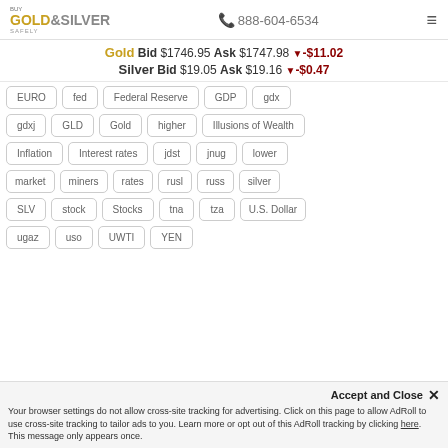Buy Gold & Silver Safely | 888-604-6534
Gold Bid $1746.95 Ask $1747.98 ▼-$11.02
Silver Bid $19.05 Ask $19.16 ▼-$0.47
EURO | fed | Federal Reserve | GDP | gdx | gdxj | GLD | Gold | higher | Illusions of Wealth | Inflation | Interest rates | jdst | jnug | lower | market | miners | rates | rusl | russ | silver | SLV | stock | Stocks | tna | tza | U.S. Dollar | ugaz | uso | UWTI | YEN
Accept and Close ✕
Your browser settings do not allow cross-site tracking for advertising. Click on this page to allow AdRoll to use cross-site tracking to tailor ads to you. Learn more or opt out of this AdRoll tracking by clicking here. This message only appears once.